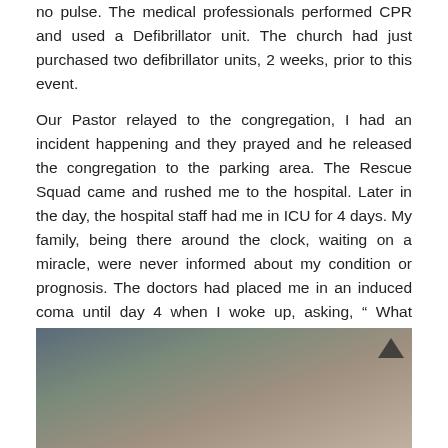no pulse. The medical professionals performed CPR and used a Defibrillator unit. The church had just purchased two defibrillator units, 2 weeks, prior to this event.
Our Pastor relayed to the congregation, I had an incident happening and they prayed and he released the congregation to the parking area. The Rescue Squad came and rushed me to the hospital. Later in the day, the hospital staff had me in ICU for 4 days. My family, being there around the clock, waiting on a miracle, were never informed about my condition or prognosis. The doctors had placed me in an induced coma until day 4 when I woke up, asking, “ What happened?” The family told me what happened and that it was all over the hospital about a man dying in church and was now alive.
[Figure (photo): Photo of two people, partially visible. A man with glasses on the left and another person on the right, appears to be in a medical or indoor setting.]